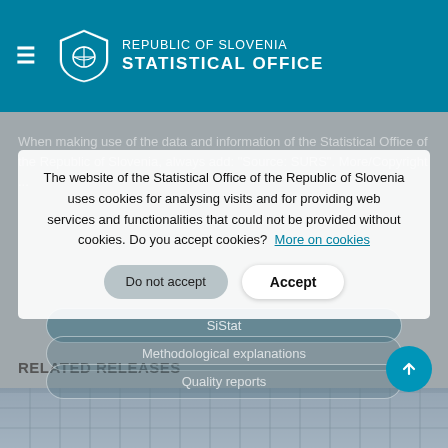REPUBLIC OF SLOVENIA STATISTICAL OFFICE
When making use of the data and information of the Statistical Office of the Republic of Slovenia, always add: "Source: SURS". More/Copyright ...
The website of the Statistical Office of the Republic of Slovenia uses cookies for analysing visits and for providing web services and functionalities that could not be provided without cookies. Do you accept cookies? More on cookies
SiStat
Methodological explanations
Quality reports
RELATED RELEASES
[Figure (photo): Bottom portion showing a building with glass facade, partially visible at the bottom of the page]